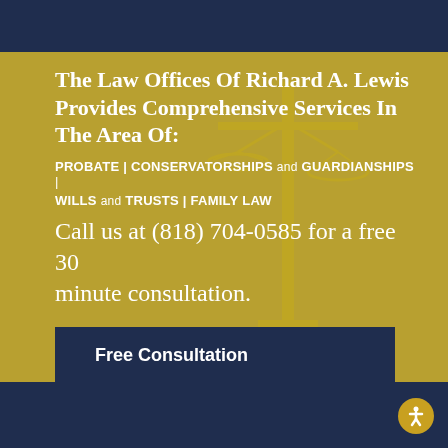The Law Offices Of Richard A. Lewis Provides Comprehensive Services In The Area Of:
PROBATE | CONSERVATORSHIPS and GUARDIANSHIPS | WILLS and TRUSTS | FAMILY LAW
Call us at (818) 704-0585 for a free 30 minute consultation.
Free Consultation